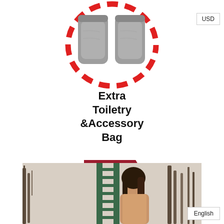[Figure (illustration): Two gray toiletry/accessory bags side by side, surrounded by a red dashed circle outline, on white background]
Extra Toiletry &Accessory Bag
TRENDY
[Figure (photo): Woman with dark hair looking down, standing in front of a green metal ladder structure outdoors with trees in background]
English
USD